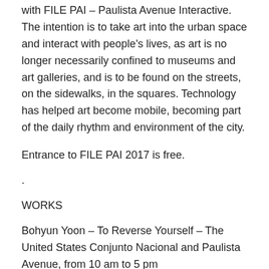with FILE PAI – Paulista Avenue Interactive. The intention is to take art into the urban space and interact with people's lives, as art is no longer necessarily confined to museums and art galleries, and is to be found on the streets, on the sidewalks, in the squares. Technology has helped art become mobile, becoming part of the daily rhythm and environment of the city.
Entrance to FILE PAI 2017 is free.
.
WORKS
Bohyun Yoon – To Reverse Yourself – The United States Conjunto Nacional and Paulista Avenue, from 10 am to 5 pm
“To Reverse Yourself” is a freestanding mirror that creates an interaction between two viewers. The mirrored panel, with its cut out made for a participant’s face to fill, reflects a hybrid image that combines the viewer’s body and the participant’s face.
Håkan Lidbo & Max Björverud – Singing Tunnel – Sweden